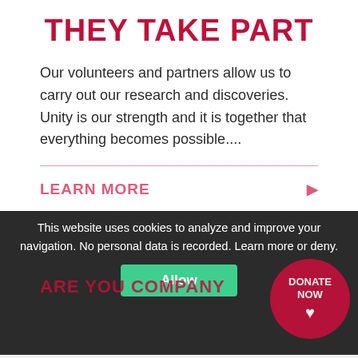THEY TAKE PART
Our volunteers and partners allow us to carry out our research and discoveries. Unity is our strength and it is together that everything becomes possible....
LEARN MORE
This website uses cookies to analyze and improve your navigation. No personal data is recorded. Learn more or deny.
Allow
ARE YOU COMPANY
DONATE NOW
Whether it is through donations or R&D partnerships (the IRHT has received several